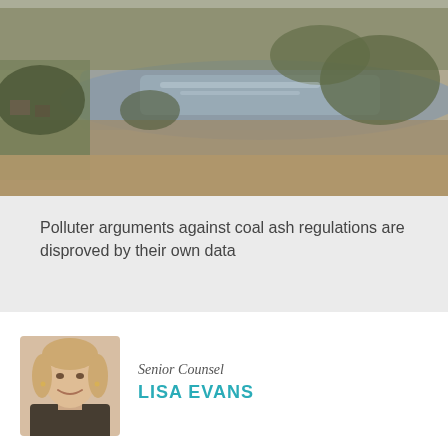[Figure (photo): Aerial photograph of a river landscape with bare trees and muddy banks, likely a coal ash impoundment or industrial site along a waterway]
Polluter arguments against coal ash regulations are disproved by their own data
[Figure (photo): Headshot of a smiling woman with blonde hair]
Senior Counsel
LISA EVANS